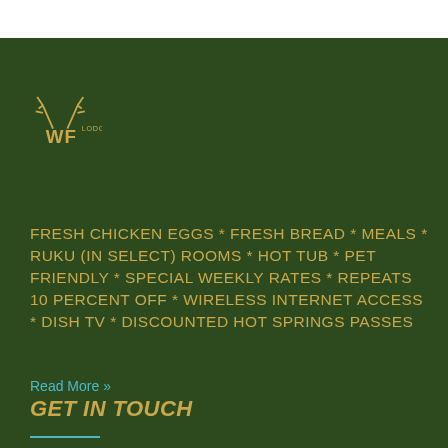[Figure (logo): Williams Fork Lodging logo with deer antlers and WF letters with LODGING text in gold on dark green background]
FRESH CHICKEN EGGS * FRESH BREAD * MEALS * RUKU (IN SELECT) ROOMS * HOT TUB * PET FRIENDLY * SPECIAL WEEKLY RATES * REPEATS 10 PERCENT OFF * WIRELESS INTERNET ACCESS * DISH TV * DISCOUNTED HOT SPRINGS PASSES
Read More »
GET IN TOUCH
Williams Fork Lodging 1160 COUNTY ROAD 373 PARSHALL, CO 80468